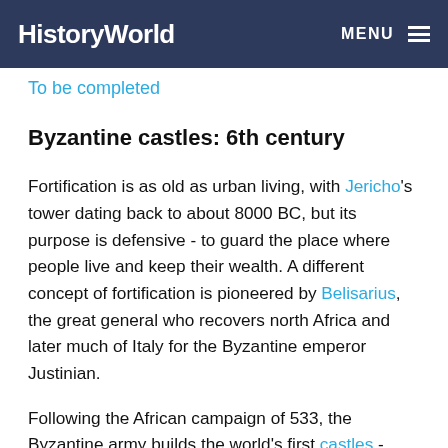HistoryWorld   MENU
To be completed
Byzantine castles: 6th century
Fortification is as old as urban living, with Jericho's tower dating back to about 8000 BC, but its purpose is defensive - to guard the place where people live and keep their wealth. A different concept of fortification is pioneered by Belisarius, the great general who recovers north Africa and later much of Italy for the Byzantine emperor Justinian.
Following the African campaign of 533, the Byzantine army builds the world's first castles - strong protective shells in which armed men may safely lurk, and from which they